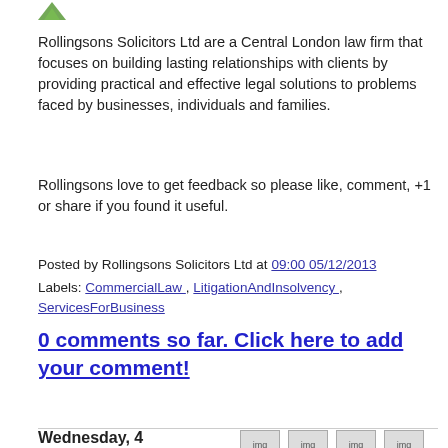[Figure (logo): Small green logo/icon in top left]
Rollingsons Solicitors Ltd are a Central London law firm that focuses on building lasting relationships with clients by providing practical and effective legal solutions to problems faced by businesses, individuals and families.
Rollingsons love to get feedback so please like, comment, +1 or share if you found it useful.
Posted by Rollingsons Solicitors Ltd at 09:00 05/12/2013
Labels: CommercialLaw , LitigationAndInsolvency , ServicesForBusiness
0 comments so far. Click here to add your comment!
Wednesday, 4 December 2013
[Figure (illustration): Share this icon]
[Figure (illustration): Tweet this icon]
[Figure (illustration): Share this icon]
[Figure (illustration): Send to a friend icon]